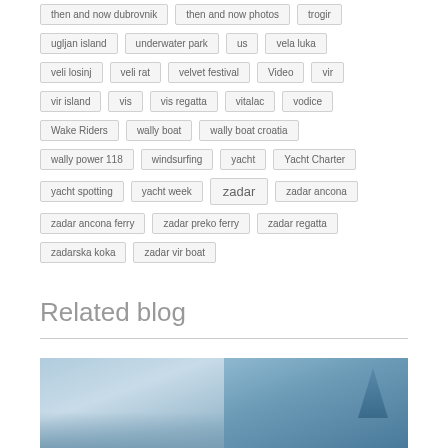then and now dubrovnik
then and now photos
trogir
ugljan island
underwater park
us
vela luka
veli losinj
veli rat
velvet festival
Video
vir
vir island
vis
vis regatta
vitalac
vodice
Wake Riders
wally boat
wally boat croatia
wally power 118
windsurfing
yacht
Yacht Charter
yacht spotting
yacht week
zadar
zadar ancona
zadar ancona ferry
zadar preko ferry
zadar regatta
zadarska koka
zadar vir boat
Related blog
[Figure (photo): Two sailing/nautical photos side by side showing boats and sea]